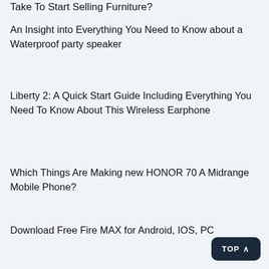Take To Start Selling Furniture?
An Insight into Everything You Need to Know about a Waterproof party speaker
Liberty 2: A Quick Start Guide Including Everything You Need To Know About This Wireless Earphone
Which Things Are Making new HONOR 70 A Midrange Mobile Phone?
Download Free Fire MAX for Android, IOS, PC